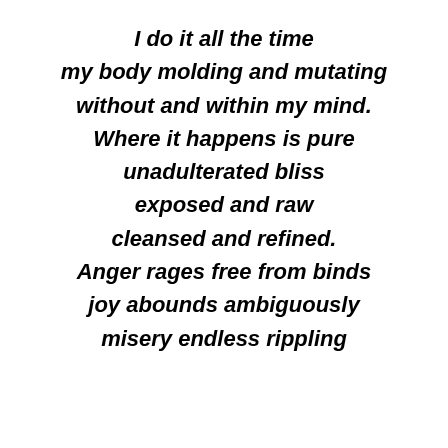I do it all the time

my body molding and mutating

without and within my mind.

Where it happens is pure

unadulterated bliss

exposed and raw

cleansed and refined.

Anger rages free from binds

joy abounds ambiguously

misery endless rippling